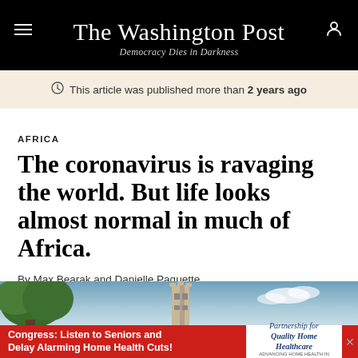The Washington Post — Democracy Dies in Darkness
This article was published more than 2 years ago
AFRICA
The coronavirus is ravaging the world. But life looks almost normal in much of Africa.
By Max Bearak and Danielle Paquette
December 11, 2020 at 6:00 a.m. EST
[Figure (photo): Outdoor scene showing a tree and a tower against a blue sky with clouds]
Congress: Listen to Seniors and Delay Alarming Home Health Cuts! — Partnership for Quality Home Healthcare